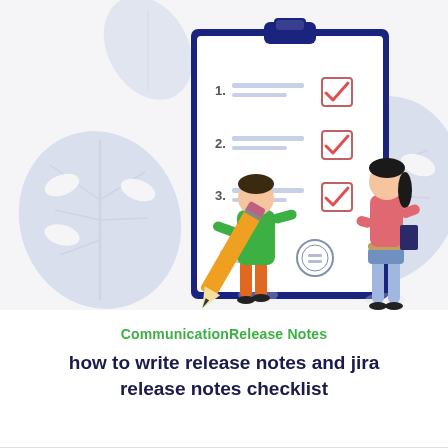[Figure (illustration): Flat illustration showing two people and a large checklist on a clipboard. A man in green shirt holds a giant pencil on the left, a woman in pink top and blue pants stands on the right. The clipboard has three numbered checklist items with red checkmarks in boxes. Decorative blue monstera leaves in background.]
CommunicationRelease Notes
how to write release notes and jira release notes checklist